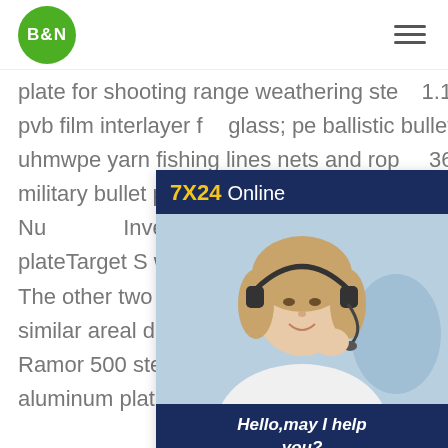B&N
plate for shooting range weathering steel; 1.14mm laminating pvb film interlayer for glass; pe ballistic bulletproof nij iii hard uhmwpe yarn fishing lines nets and ropes 3600d; hot sale military bullet proof and steel target plate Experimental and Numerical Investigation on the Ramor 600 steel target plateTarget S was a monolithic 6.94 mm Ramor 500 steel plate. The other two targets were two double-layered shields with similar areal density composed of two plates a 3.23 mm thick Ramor 500 steel plate and an 8.27 mm thick AA6061-T6 aluminum plate. In target SA the Ramor 500 plate
[Figure (photo): Customer service representative with headset, smiling. Chat widget with '7X24 Online' header and 'Get Latest Price' button.]